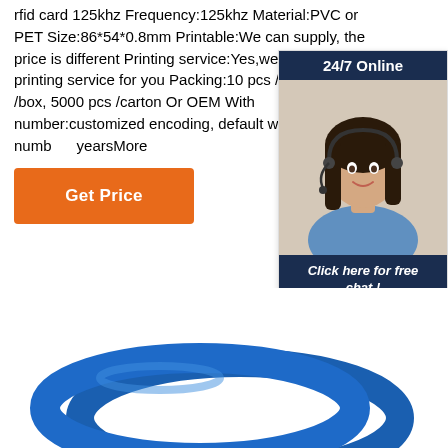rfid card 125khz Frequency:125khz Material:PVC or PET Size:86*54*0.8mm Printable:We can supply, the price is different Printing service:Yes,we can supply printing service for you Packing:10 pcs /bar,200 pcs /box, 5000 pcs /carton Or OEM With number:customized encoding, default without number...yearsMore
[Figure (other): Get Price orange button]
[Figure (other): 24/7 Online chat widget with customer service representative photo and QUOTATION button]
[Figure (other): TOP navigation button with orange dots]
[Figure (photo): Blue RFID silicone wristbands/bracelets]